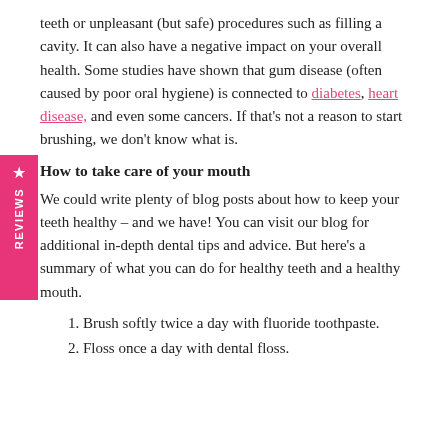teeth or unpleasant (but safe) procedures such as filling a cavity. It can also have a negative impact on your overall health. Some studies have shown that gum disease (often caused by poor oral hygiene) is connected to diabetes, heart disease, and even some cancers. If that's not a reason to start brushing, we don't know what is.
How to take care of your mouth
We could write plenty of blog posts about how to keep your teeth healthy – and we have! You can visit our blog for additional in-depth dental tips and advice. But here's a summary of what you can do for healthy teeth and a healthy mouth.
1. Brush softly twice a day with fluoride toothpaste.
2. Floss once a day with dental floss.